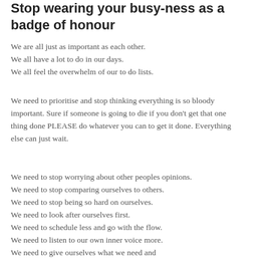Stop wearing your busy-ness as a badge of honour
We are all just as important as each other.
We all have a lot to do in our days.
We all feel the overwhelm of our to do lists.
We need to prioritise and stop thinking everything is so bloody important. Sure if someone is going to die if you don't get that one thing done PLEASE do whatever you can to get it done. Everything else can just wait.
We need to stop worrying about other peoples opinions.
We need to stop comparing ourselves to others.
We need to stop being so hard on ourselves.
We need to look after ourselves first.
We need to schedule less and go with the flow.
We need to listen to our own inner voice more.
We need to give ourselves what we need and